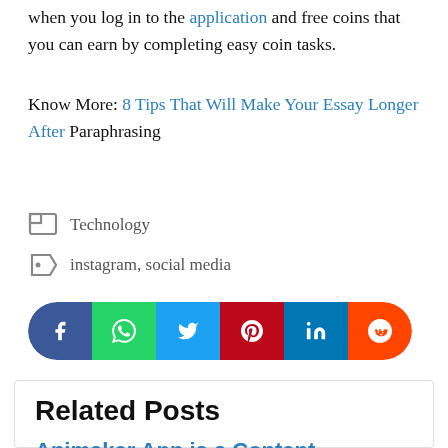when you log in to the application and free coins that you can earn by completing easy coin tasks.
Know More: 8 Tips That Will Make Your Essay Longer After Paraphrasing
Technology
instagram, social media
[Figure (infographic): Social media share bar with icons for Facebook, WhatsApp, Twitter, Pinterest, LinkedIn, and Reddit]
Related Posts
Animaker App is a Content